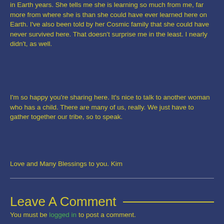in Earth years. She tells me she is learning so much from me, far more from where she is than she could have ever learned here on Earth. I've also been told by her Cosmic family that she could have never survived here. That doesn't surprise me in the least. I nearly didn't, as well.
I'm so happy you're sharing here. It's nice to talk to another woman who has a child. There are many of us, really. We just have to gather together our tribe, so to speak.
Love and Many Blessings to you. Kim
Leave A Comment
You must be logged in to post a comment.